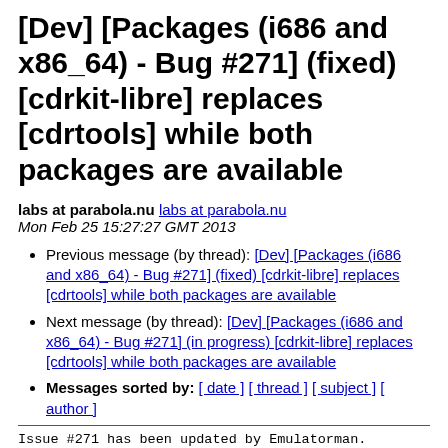[Dev] [Packages (i686 and x86_64) - Bug #271] (fixed) [cdrkit-libre] replaces [cdrtools] while both packages are available
labs at parabola.nu  labs at parabola.nu
Mon Feb 25 15:27:27 GMT 2013
Previous message (by thread): [Dev] [Packages (i686 and x86_64) - Bug #271] (fixed) [cdrkit-libre] replaces [cdrtools] while both packages are available
Next message (by thread): [Dev] [Packages (i686 and x86_64) - Bug #271] (in progress) [cdrkit-libre] replaces [cdrtools] while both packages are available
Messages sorted by: [ date ] [ thread ] [ subject ] [ author ]
Issue #271 has been updated by Emulatorman.